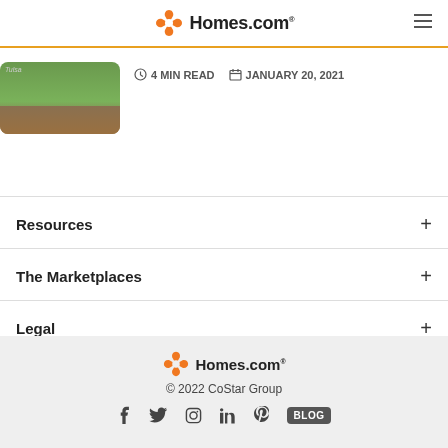Homes.com
4 MIN READ   JANUARY 20, 2021
[Figure (photo): Thumbnail image of a grassy lawn with soil/dirt background]
Resources +
The Marketplaces +
Legal +
About Homes.com +
Homes.com © 2022 CoStar Group  [social icons: f, twitter, instagram, linkedin, pinterest, BLOG]